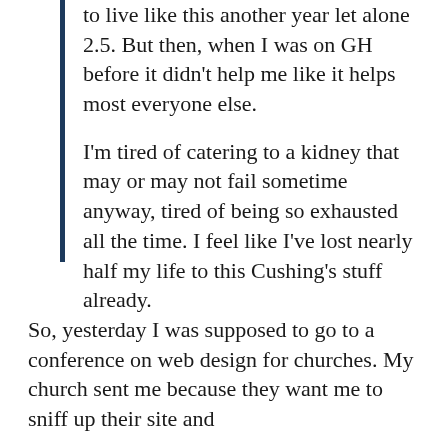to live like this another year let alone 2.5.  But then, when I was on GH before it didn't help me like it helps most everyone else.

I'm tired of catering to a kidney that may or may not fail sometime anyway, tired of being so exhausted all the time.  I feel like I've lost nearly half my life to this Cushing's stuff already.
So, yesterday I was supposed to go to a conference on web design for churches.  My church sent me because they want me to sniff up their site and